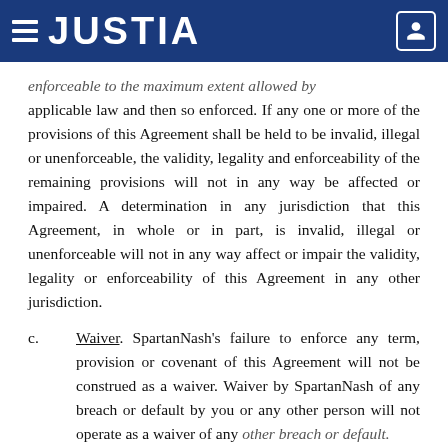JUSTIA
enforceable to the maximum extent allowed by applicable law and then so enforced. If any one or more of the provisions of this Agreement shall be held to be invalid, illegal or unenforceable, the validity, legality and enforceability of the remaining provisions will not in any way be affected or impaired. A determination in any jurisdiction that this Agreement, in whole or in part, is invalid, illegal or unenforceable will not in any way affect or impair the validity, legality or enforceability of this Agreement in any other jurisdiction.
c. Waiver. SpartanNash's failure to enforce any term, provision or covenant of this Agreement will not be construed as a waiver. Waiver by SpartanNash of any breach or default by you or any other person will not operate as a waiver of any other breach or default.